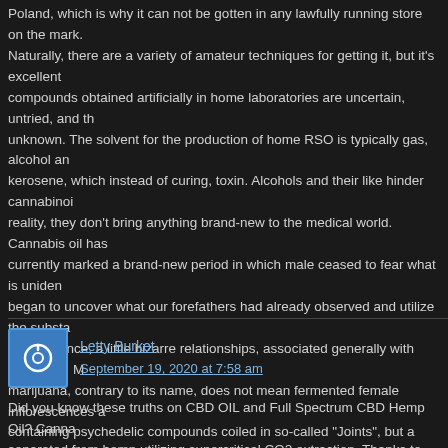Poland, which is why it can not be gotten in any lawfully running store on the mark. Naturally, there are a variety of amateur techniques for getting it, but it's excellent compounds obtained artificially in home laboratories are uncertain, untried, and th unknown. The solvent for the production of home RSO is typically gas, alcohol an kerosene, which instead of curing, toxin. Alcohols and their like hinder cannabinoi reality, they don't bring anything brand-new to the medical world. Cannabis oil has currently marked a brand-new period in which male ceased to fear what is uniden began to uncover what our forefathers had already observed and utilize the substa at first glance, a little bizarre relationships, associated generally with pathology. M marijuana, contrary to its name, does not mean fermented female inflorescences a containing psychedelic compounds coiled in so-called "Joints", but a beneficial oil psychedelic THC. A standard individual, after taking doses of medical marijuana a the suitable state of cannabinoids in the blood, can take pleasure in increased imm vulnerability to cancer, delayed aging and lowered danger of stroke or cardiovascu CBD oil contains cannabidiol as a base active ingredient and may contain just tra tetrahydroxycannabidiol (THC). RSO oil has a low CBD material, while high THC. oil type CBD and RSO likewise contain other cannabinoids, such as cannabichron cannabigerol (CBG). CBD medical cannabis oil is a rather helpful blend of cannab to safeguard against 21st century illness. Oil of cannabis in a kind of hobby APR i amounts of CBD, stabilized by the presence of THC.
Letty Burket
September 19, 2020 at 7:58 am
Did you know these truths on CBD OIL and Full Spectrum CBD Hemp Oil? Canna separated from hemp utilizing supercritical CO2 extraction. Thanks to modern-day